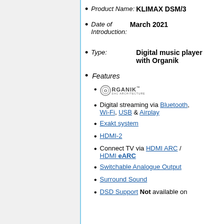Product Name: KLIMAX DSM/3
Date of Introduction: March 2021
Type: Digital music player with Organik
Features
Organik DAC Architecture (logo)
Digital streaming via Bluetooth, Wi-Fi, USB & Airplay
Exakt system
HDMI-2
Connect TV via HDMI ARC / HDMI eARC
Switchable Analogue Output
Surround Sound
DSD Support Not available on